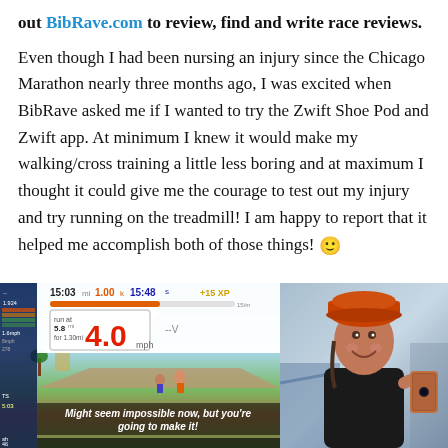out BibRave.com to review, find and write race reviews.

Even though I had been nursing an injury since the Chicago Marathon nearly three months ago, I was excited when BibRave asked me if I wanted to try the Zwift Shoe Pod and Zwift app. At minimum I knew it would make my walking/cross training a little less boring and at maximum I thought it could give me the courage to test out my injury and try running on the treadmill! I am happy to report that it helped me accomplish both of those things! 🙂
[Figure (screenshot): Zwift app screenshot showing treadmill running stats: time 15:03, distance 1.00, elapsed 15:48, speed 5.8 mph current and 4.0 mph display, +15 XP, with motivational caption 'Might seem impossible now, but you're going to make it!']
[Figure (photo): Person taking a selfie in gym wearing an orange cap and black top, smiling at camera holding a phone]